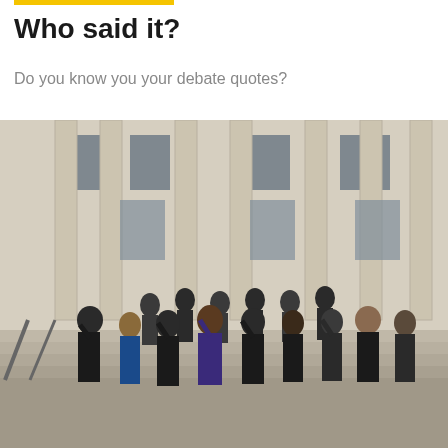Who said it?
Do you know you your debate quotes?
[Figure (photo): Group of approximately 20 young professionals in business attire posing on the steps of a large neoclassical building with tall columns, making hand gestures (pointing up with index fingers). One woman is wearing a blue dress among the predominantly dark-suited group.]